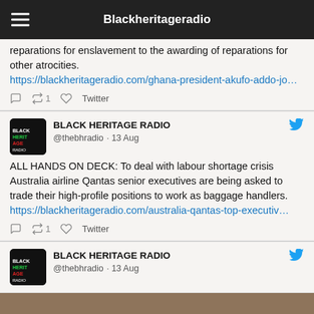Blackheritageradio
reparations for enslavement to the awarding of reparations for other atrocities. https://blackheritageradio.com/ghana-president-akufo-addo-jo…
BLACK HERITAGE RADIO @thebhradio · 13 Aug
ALL HANDS ON DECK: To deal with labour shortage crisis Australia airline Qantas senior executives are being asked to trade their high-profile positions to work as baggage handlers. https://blackheritageradio.com/australia-qantas-top-executiv…
BLACK HERITAGE RADIO @thebhradio · 13 Aug